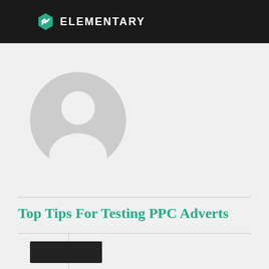ELEMENTARY
[Figure (illustration): Generic user avatar placeholder — grey circle with white silhouette of a person (head and shoulders)]
Top Tips For Testing PPC Adverts